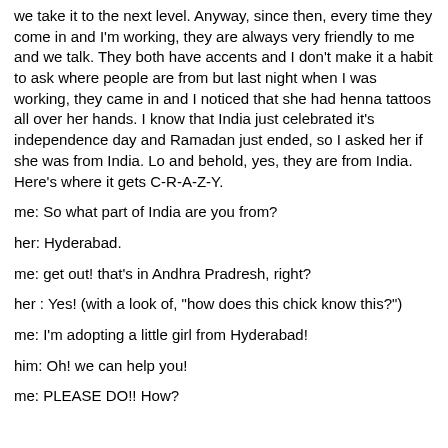we take it to the next level.  Anyway, since then, every time they come in and I'm working, they are always very friendly to me and we talk.  They both have accents and I don't make it a habit to ask where people are from but last night when I was working, they came in and I noticed that she had henna tattoos all over her hands.  I know that India just celebrated it's independence day and Ramadan just ended, so I asked her if she was from India.  Lo and behold, yes, they are from India.  Here's where it gets C-R-A-Z-Y.
me:  So what part of India are you from?
her:  Hyderabad.
me:  get out!  that's in Andhra Pradresh, right?
her :  Yes! (with a look of, "how does this chick know this?")
me:  I'm adopting a little girl from Hyderabad!
him:  Oh!  we can help you!
me:  PLEASE DO!!  How?